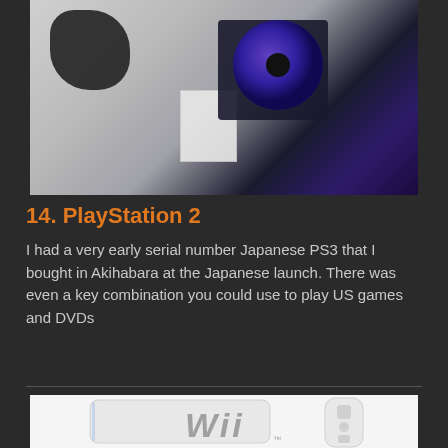[Figure (photo): Photo of PlayStation 2 or PS3 console components including a dark blue/purple disc, controller, and documentation card on a light background]
14. PlayStation 2
I had a very early serial number Japanese PS3 that I bought in Akihabara at the Japanese launch. There was even a key combination you could use to play US games and DVDs
[Figure (photo): Photo of white Nintendo Wii console with Wii logo and Wiimote controller on white background]